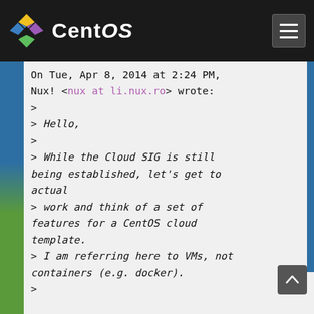CentOS
On Tue, Apr 8, 2014 at 2:24 PM, Nux! <nux at li.nux.ro> wrote:
>
> Hello,
>
> While the Cloud SIG is still being established, let's get to actual
> work and think of a set of features for a CentOS cloud template.
> I am referring here to VMs, not containers (e.g. docker).
>